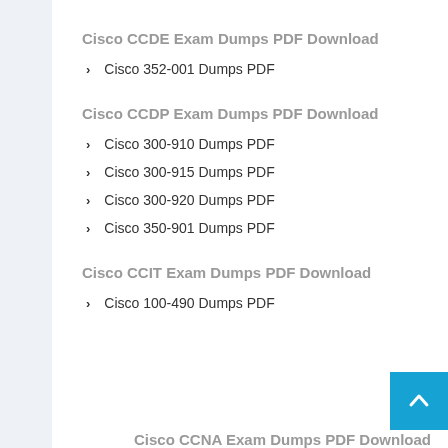Cisco CCDE Exam Dumps PDF Download
Cisco 352-001 Dumps PDF
Cisco CCDP Exam Dumps PDF Download
Cisco 300-910 Dumps PDF
Cisco 300-915 Dumps PDF
Cisco 300-920 Dumps PDF
Cisco 350-901 Dumps PDF
Cisco CCIT Exam Dumps PDF Download
Cisco 100-490 Dumps PDF
Cisco CCNA Exam Dumps PDF Download